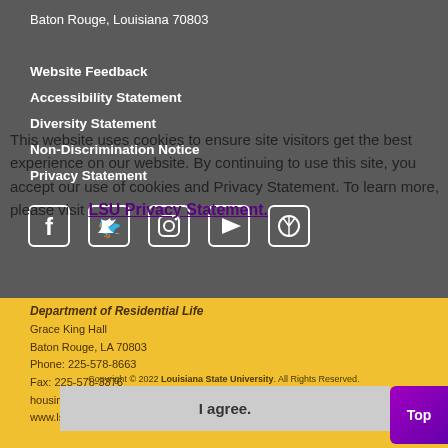Baton Rouge, Louisiana 70803
Website Feedback
Accessibility Statement
Diversity Statement
Non-Discrimination Notice
Privacy Statement
[Figure (infographic): Social media icons: Facebook, Twitter, Instagram, YouTube, Pinterest]
Department of Residential Life
Grace King Hall
Baton Rouge, LA 70803
Phone: 225-578-8663
Fax: 225-578-3376
housing@lsu.edu
www.lsu.edu/housing
This website uses cookies to ensure site visitors get the best experience on our website. By continuing to use this site, you accept our use of cookies and Privacy Statement. To learn more, please visit LSU Privacy Statement.
Copyright © 2022 Louisiana State University. All Rights Reserved.
I agree.